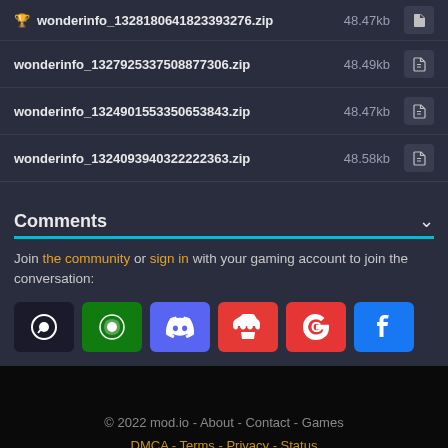wonderinfo_1328180641823393276.zip  48.47kb
wonderinfo_1327925337508877306.zip  48.49kb
wonderinfo_1324901553350653843.zip  48.47kb
wonderinfo_1324093940322222363.zip  48.58kb
Comments
Join the community or sign in with your gaming account to join the conversation:
[Figure (other): Social login buttons: Steam, Xbox, Discord, itch.io, Google, Facebook]
© 2022 mod.io - About - Contact - Games
DMCA - Terms - Privacy - Status